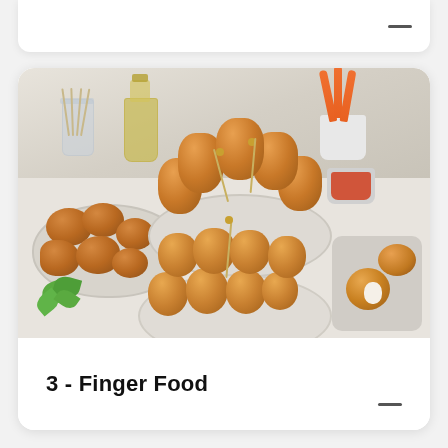[Figure (photo): A food styling photo showing multiple white bowls and a tray filled with golden-brown fried finger food (croquettes/nuggets) with decorative toothpicks, alongside a cup of carrot sticks, a small cup of red dipping sauce, an oil bottle, a jar of toothpicks, and fresh herb garnish on a light surface.]
3 - Finger Food